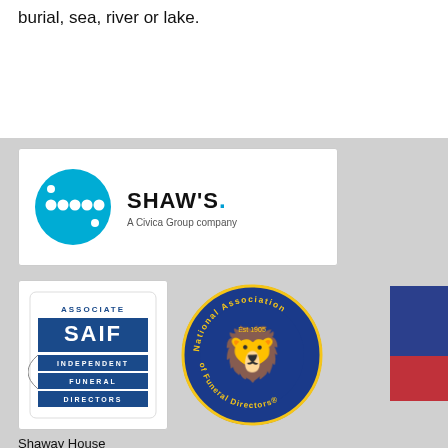burial, sea, river or lake.
[Figure (logo): Shaw's - A Civica Group company logo with teal circle containing dots]
[Figure (logo): SAIF Associate Independent Funeral Directors logo]
[Figure (logo): National Association of Funeral Directors circular badge logo]
Shaway House
21 Bourne Park, Bourne Road
Crayford, Kent DA1 4BZ
Tel: 01322 621100 | Fax: 01322 550553
For information on Shaw's other products and services go to www.shaws.co.uk
Email: sales@shaws.co.uk
Privacy Policy
Modern Slavery Statement